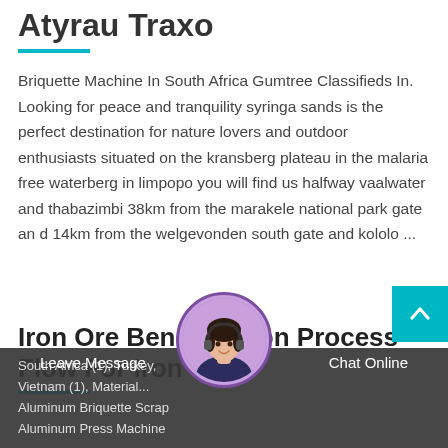Atyrau Traxo
Briquette Machine In South Africa Gumtree Classifieds In. Looking for peace and tranquility syringa sands is the perfect destination for nature lovers and outdoor enthusiasts situated on the kransberg plateau in the malaria free waterberg in limpopo you will find us halfway vaalwater and thabazimbi 38km from the marakele national park gate an d 14km from the welgevonden south gate and kololo ...
Iron Ore Beneficiation Process Flow For Iron Ore
South Africa (1), Turkey, Vietnam (1), Material... Aluminum Briquette Scrap Aluminum Press Machine
Leave Message   Chat Online